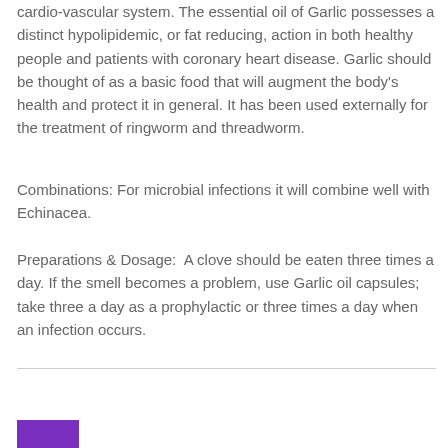cardio-vascular system. The essential oil of Garlic possesses a distinct hypolipidemic, or fat reducing, action in both healthy people and patients with coronary heart disease. Garlic should be thought of as a basic food that will augment the body's health and protect it in general. It has been used externally for the treatment of ringworm and threadworm.
Combinations: For microbial infections it will combine well with Echinacea.
Preparations & Dosage:  A clove should be eaten three times a day. If the smell becomes a problem, use Garlic oil capsules; take three a day as a prophylactic or three times a day when an infection occurs.
[Figure (other): Purple rectangle at bottom left of page, partial view]